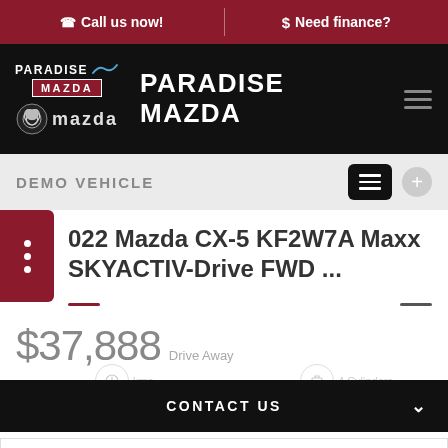Call us now! | Need finance?
[Figure (logo): Paradise Mazda logo with Mazda wing emblem]
PARADISE MAZDA
DEMO VEHICLE
2022 Mazda CX-5 KF2W7A Maxx SKYACTIV-Drive FWD ...
$37,888 Drive Away
CONTACT US
FINANCE THIS VEHICLE